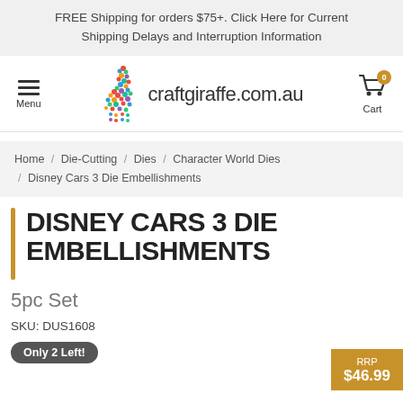FREE Shipping for orders $75+. Click Here for Current Shipping Delays and Interruption Information
[Figure (logo): Craft Giraffe logo with colorful giraffe silhouette and text craftgiraffe.com.au, with hamburger menu icon on left and cart icon with 0 badge on right]
Home / Die-Cutting / Dies / Character World Dies / Disney Cars 3 Die Embellishments
DISNEY CARS 3 DIE EMBELLISHMENTS
5pc Set
SKU: DUS1608
Only 2 Left!
RRP $46.99